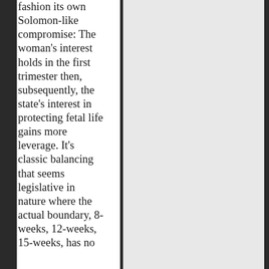fashion its own Solomon-like compromise: The woman's interest holds in the first trimester then, subsequently, the state's interest in protecting fetal life gains more leverage. It's classic balancing that seems legislative in nature where the actual boundary, 8-weeks, 12-weeks, 15-weeks, has no